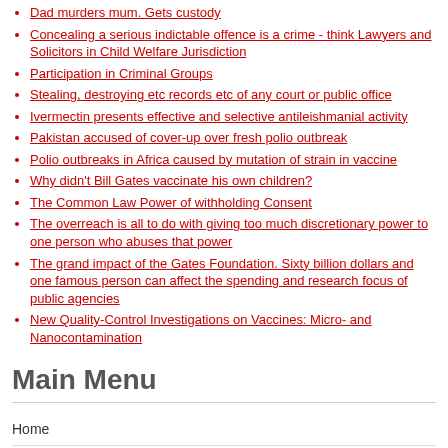Dad murders mum. Gets custody
Concealing a serious indictable offence is a crime - think Lawyers and Solicitors in Child Welfare Jurisdiction
Participation in Criminal Groups
Stealing, destroying etc records etc of any court or public office
Ivermectin presents effective and selective antileishmanial activity
Pakistan accused of cover-up over fresh polio outbreak
Polio outbreaks in Africa caused by mutation of strain in vaccine
Why didn't Bill Gates vaccinate his own children?
The Common Law Power of withholding Consent
The overreach is all to do with giving too much discretionary power to one person who abuses that power
The grand impact of the Gates Foundation. Sixty billion dollars and one famous person can affect the spending and research focus of public agencies
New Quality-Control Investigations on Vaccines: Micro- and Nanocontamination
Main Menu
Home
Search